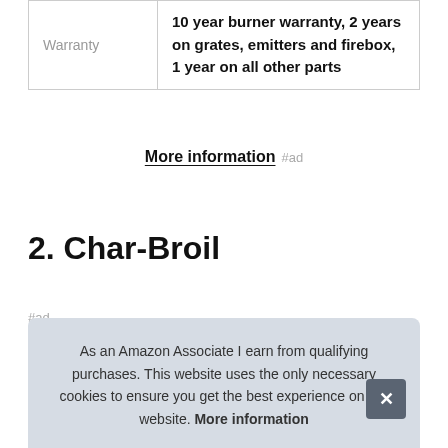|  |  |
| --- | --- |
| Warranty | 10 year burner warranty, 2 years on grates, emitters and firebox, 1 year on all other parts |
More information #ad
2. Char-Broil
#ad
As an Amazon Associate I earn from qualifying purchases. This website uses the only necessary cookies to ensure you get the best experience on our website. More information